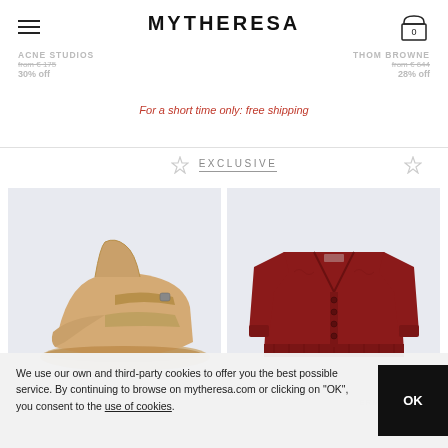MYTHERESA
ACNE STUDIOS  from € 175  30% off
THOM BROWNE  from € 644  28% off
For a short time only: free shipping
EXCLUSIVE
[Figure (photo): Tan/beige high-top sneaker on light blue-grey background]
[Figure (photo): Dark red/burgundy knit cardigan with buttons on light blue-grey background]
We use our own and third-party cookies to offer you the best possible service. By continuing to browse on mytheresa.com or clicking on "OK", you consent to the use of cookies.